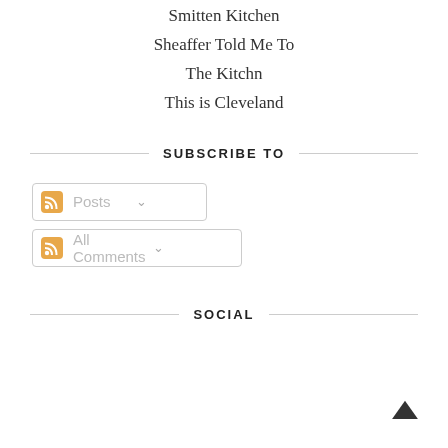Smitten Kitchen
Sheaffer Told Me To
The Kitchn
This is Cleveland
SUBSCRIBE TO
[Figure (other): RSS subscribe button labeled Posts with dropdown chevron]
[Figure (other): RSS subscribe button labeled All Comments with dropdown chevron]
SOCIAL
[Figure (other): Back to top arrow chevron button at bottom right]